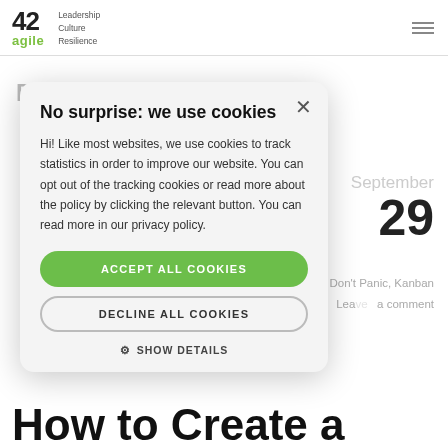42agile — Leadership Culture Resilience
Blog: Archives
September 29
By Birge Kahraman  Don't Panic, Kanban  Leave a comment
How to Create a
[Figure (screenshot): Cookie consent modal dialog with title 'No surprise: we use cookies', body text explaining cookie usage, an 'ACCEPT ALL COOKIES' green button, a 'DECLINE ALL COOKIES' outlined button, and a 'SHOW DETAILS' gear icon link. A close X button is in the top-right corner.]